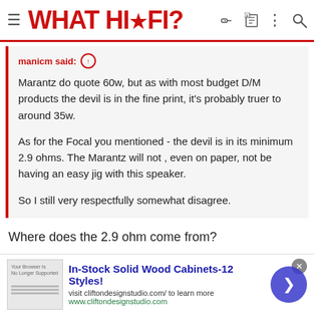WHAT HI-FI?
manicm said: ↑

Marantz do quote 60w, but as with most budget D/M products the devil is in the fine print, it's probably truer to around 35w.

As for the Focal you mentioned - the devil is in its minimum 2.9 ohms. The Marantz will not , even on paper, not be having an easy jig with this speaker.

So I still very respectfully somewhat disagree.
Where does the 2.9 ohm come from?
manicm
Well-known member
In-Stock Solid Wood Cabinets-12 Styles!
visit cliftondesignstudio.com/ to learn more
www.cliftondesignstudio.com